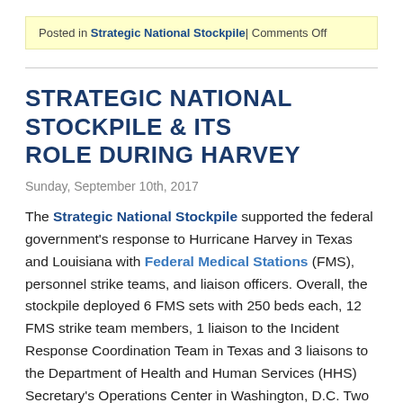Posted in Strategic National Stockpile| Comments Off
STRATEGIC NATIONAL STOCKPILE & ITS ROLE DURING HARVEY
Sunday, September 10th, 2017
The Strategic National Stockpile supported the federal government's response to Hurricane Harvey in Texas and Louisiana with Federal Medical Stations (FMS), personnel strike teams, and liaison officers. Overall, the stockpile deployed 6 FMS sets with 250 beds each, 12 FMS strike team members, 1 liaison to the Incident Response Coordination Team in Texas and 3 liaisons to the Department of Health and Human Services (HHS) Secretary's Operations Center in Washington, D.C. Two